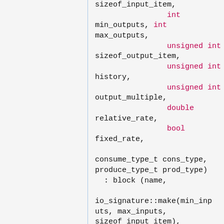sizeof_input_item,
                int min_outputs, int max_outputs,
                unsigned int sizeof_output_item,
                unsigned int history,
                unsigned int output_multiple,
                double relative_rate,
                bool fixed_rate,

consume_type_t cons_type, produce_type_t prod_type)
  : block (name,

io_signature::make(min_inputs, max_inputs, sizeof_input_item),

io_signature::make(min_outputs, max_outputs,